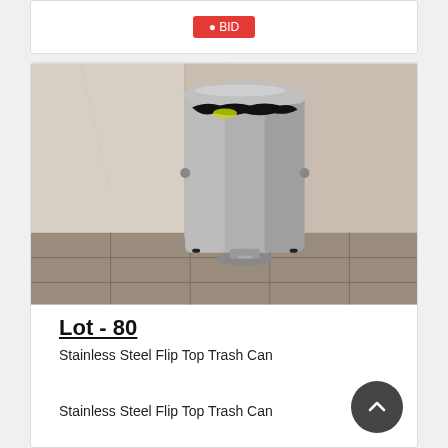[Figure (photo): Stainless steel step-on flip top trash can with black garbage bag, placed in a corner against marble-look walls on tiled floor]
Lot - 80
Stainless Steel Flip Top Trash Can
Stainless Steel Flip Top Trash Can